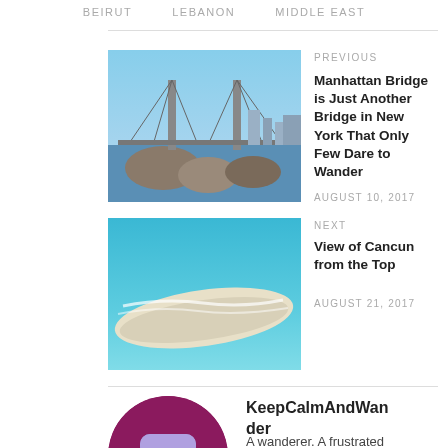BEIRUT   LEBANON   MIDDLE EAST
[Figure (photo): Photo of Manhattan Bridge over water with rocks in foreground and city skyline behind]
PREVIOUS
Manhattan Bridge is Just Another Bridge in New York That Only Few Dare to Wander
AUGUST 10, 2017
[Figure (photo): Aerial photo of turquoise beach water and white sandy shoreline at Cancun]
NEXT
View of Cancun from the Top
AUGUST 21, 2017
[Figure (illustration): Round purple avatar illustration of a sad-looking purple block character with eyes and a flat mouth]
KeepCalmAndWander
A wanderer. A frustrated photographer. Hiker.